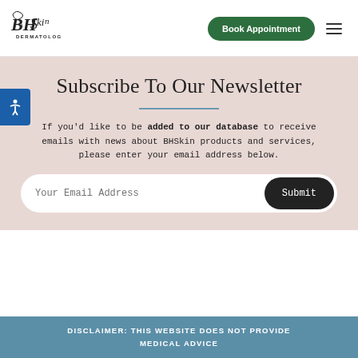[Figure (logo): BHSkin Dermatology logo - cursive BHS lettering with DERMATOLOGY text below]
Book Appointment
Subscribe To Our Newsletter
If you'd like to be added to our database to receive emails with news about BHSkin products and services, please enter your email address below.
Your Email Address
Submit
DISCLAIMER: THIS WEBSITE DOES NOT PROVIDE MEDICAL ADVICE